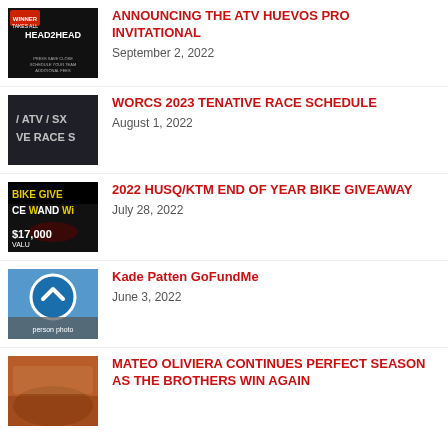ANNOUNCING THE ATV HUEVOS PRO INVITATIONAL
September 2, 2022
WORCS 2023 TENATIVE RACE SCHEDULE
August 1, 2022
2022 HUSQ/KTM END OF YEAR BIKE GIVEAWAY
July 28, 2022
Kade Patten GoFundMe
June 3, 2022
MATEO OLIVIERA CONTINUES PERFECT SEASON AS THE BROTHERS WIN AGAIN